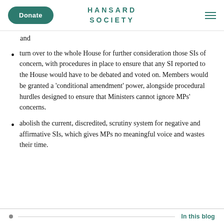Donate | HANSARD SOCIETY
and
turn over to the whole House for further consideration those SIs of concern, with procedures in place to ensure that any SI reported to the House would have to be debated and voted on. Members would be granted a 'conditional amendment' power, alongside procedural hurdles designed to ensure that Ministers cannot ignore MPs' concerns.
abolish the current, discredited, scrutiny system for negative and affirmative SIs, which gives MPs no meaningful voice and wastes their time.
In this blog